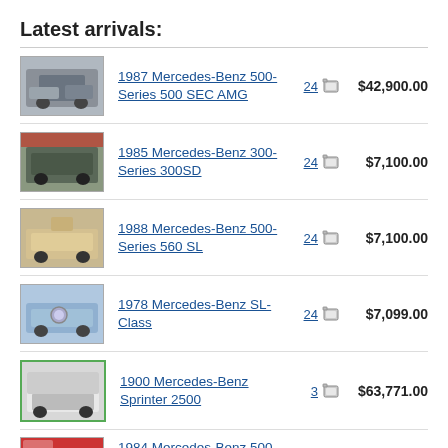Latest arrivals:
1987 Mercedes-Benz 500-Series 500 SEC AMG
1985 Mercedes-Benz 300-Series 300SD
1988 Mercedes-Benz 500-Series 560 SL
1978 Mercedes-Benz SL-Class
1900 Mercedes-Benz Sprinter 2500
1984 Mercedes-Benz 500-Series SL500 AMG R...